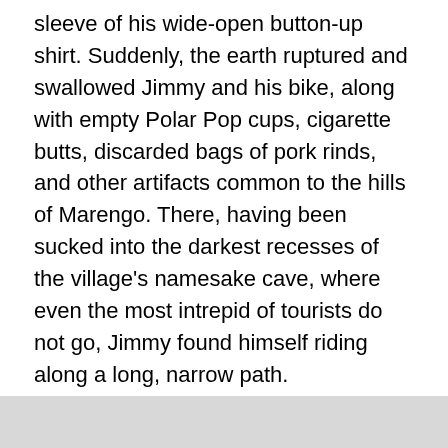sleeve of his wide-open button-up shirt. Suddenly, the earth ruptured and swallowed Jimmy and his bike, along with empty Polar Pop cups, cigarette butts, discarded bags of pork rinds, and other artifacts common to the hills of Marengo. There, having been sucked into the darkest recesses of the village's namesake cave, where even the most intrepid of tourists do not go, Jimmy found himself riding along a long, narrow path.
One curious fact unknown to most readers is that phosphorous, a necessary ingredient of homemade meth, if smoked in just the right quantities, can allow